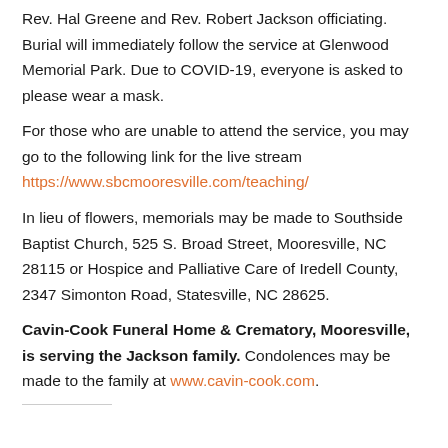Rev. Hal Greene and Rev. Robert Jackson officiating. Burial will immediately follow the service at Glenwood Memorial Park. Due to COVID-19, everyone is asked to please wear a mask.
For those who are unable to attend the service, you may go to the following link for the live stream https://www.sbcmooresville.com/teaching/
In lieu of flowers, memorials may be made to Southside Baptist Church, 525 S. Broad Street, Mooresville, NC 28115 or Hospice and Palliative Care of Iredell County, 2347 Simonton Road, Statesville, NC 28625.
Cavin-Cook Funeral Home & Crematory, Mooresville, is serving the Jackson family. Condolences may be made to the family at www.cavin-cook.com.